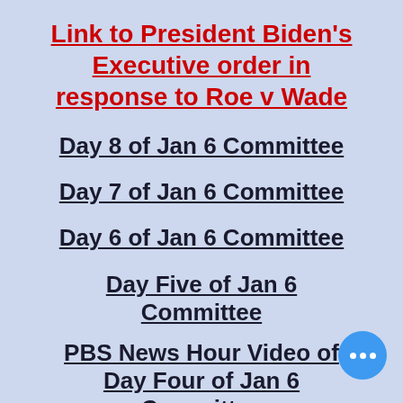Link to President Biden's Executive order in response to Roe v Wade
Day 8 of Jan 6 Committee
Day 7 of Jan 6 Committee
Day 6 of Jan 6 Committee
Day Five of Jan 6 Committee
PBS News Hour Video of Day Four of Jan 6 Committee